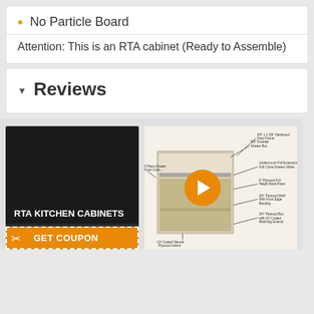No Particle Board
Attention: This is an RTA cabinet (Ready to Assemble)
Reviews
[Figure (infographic): RTA Kitchen Cabinets promotional banner with CabinetSelect.com logo and Get Coupon offer alongside a cut-away cabinet diagram with labeled parts showing plywood construction details and a video play button overlay]